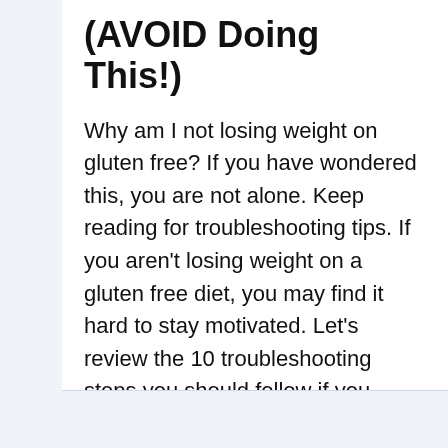(AVOID Doing This!)
Why am I not losing weight on gluten free? If you have wondered this, you are not alone. Keep reading for troubleshooting tips. If you aren't losing weight on a gluten free diet, you may find it hard to stay motivated. Let's review the 10 troubleshooting steps you should follow if you aren't losing weight…
READ MORE →